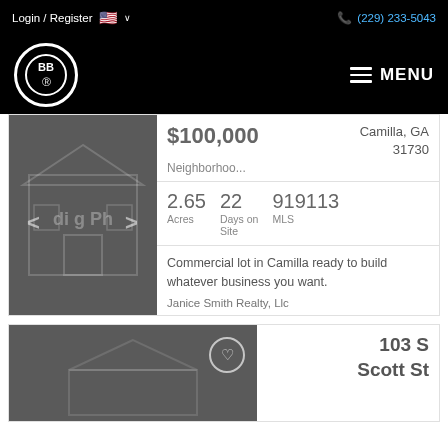Login / Register  🇺🇸 ∨   (229) 233-5043
[Figure (logo): Black navigation bar with BB Realty circular logo in white on left, MENU text with hamburger icon on right]
[Figure (photo): Gray placeholder image showing house outline with 'ding Photo' text and navigation arrows]
$100,000  Camilla, GA 31730  Neighborhoo...
2.65 Acres  22 Days on Site  919113 MLS
Commercial lot in Camilla ready to build whatever business you want.
Janice Smith Realty, Llc
[Figure (photo): Gray placeholder image for second listing, with heart/favorite icon overlay]
103 S Scott St